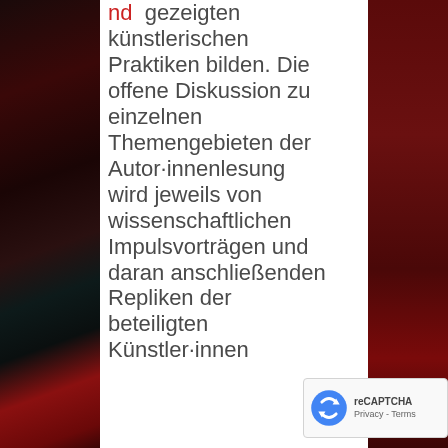[Figure (photo): Left side dark red and black blurred photographic background panel]
[Figure (photo): Right side dark red blurred photographic background panel]
nd gezeigten künstlerischen Praktiken bilden. Die offene Diskussion zu einzelnen Themengebieten der Autor·innenlesung wird jeweils von wissenschaftlichen Impulsvorträgen und daran anschließenden Repliken der beteiligten Künstler·innen
[Figure (logo): reCAPTCHA badge with Google logo and Privacy - Terms text]